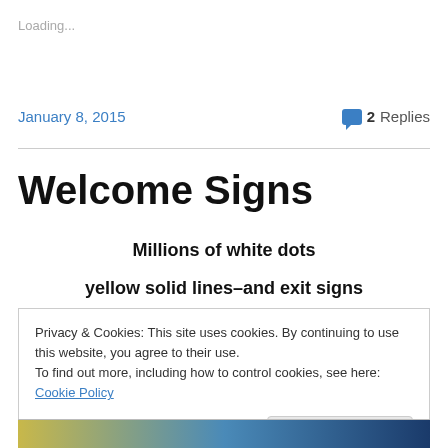Loading...
January 8, 2015
2 Replies
Welcome Signs
Millions of white dots
yellow solid lines–and exit signs
Privacy & Cookies: This site uses cookies. By continuing to use this website, you agree to their use.
To find out more, including how to control cookies, see here: Cookie Policy
Close and accept